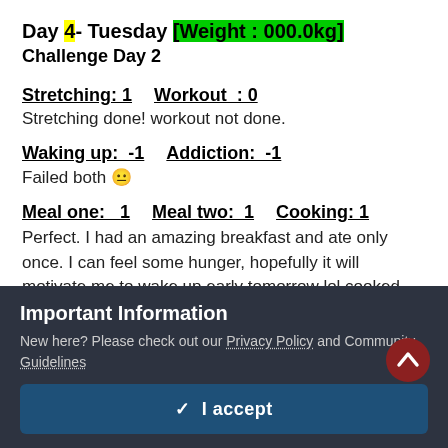Day 4- Tuesday [Weight : 000.0kg]
Challenge Day 2
Stretching: 1    Workout  : 0
Stretching done! workout not done.
Waking up:  -1      Addiction:  -1
Failed both 😐
Meal one:  1      Meal two:  1      Cooking: 1
Perfect. I had an amazing breakfast and ate only once. I can feel some hunger, hopefully it will motivate me to wake up early tomorrow lol cooked eggs
Important Information
New here? Please check out our Privacy Policy and Community Guidelines
✓  I accept